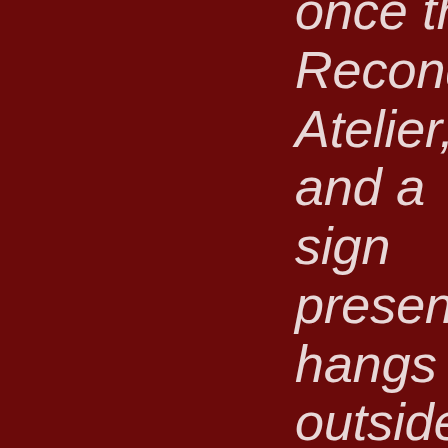once the Recondite Atelier, and a sign presently hangs outside the door to the establishment, a promise